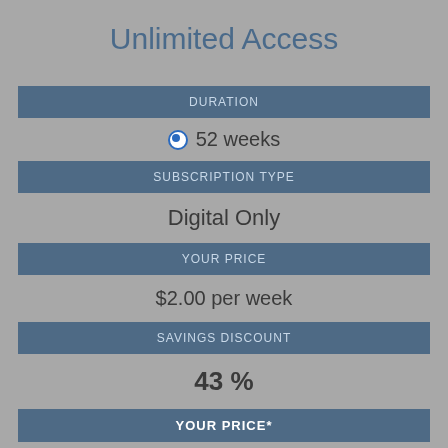Unlimited Access
DURATION
52 weeks
SUBSCRIPTION TYPE
Digital Only
YOUR PRICE
$2.00 per week
SAVINGS DISCOUNT
43 %
YOUR PRICE*
$104.00
Unlimited Digital Access